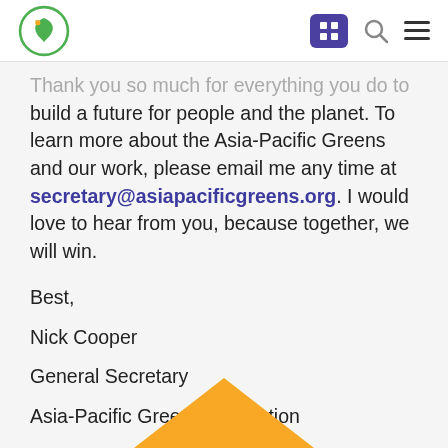Asia-Pacific Greens Federation logo, navigation icons
Thank you so much for everything you do to build a future for people and the planet. To learn more about the Asia-Pacific Greens and our work, please email me any time at secretary@asiapacificgreens.org. I would love to hear from you, because together, we will win.
Best,
Nick Cooper
General Secretary
Asia-Pacific Greens Federation